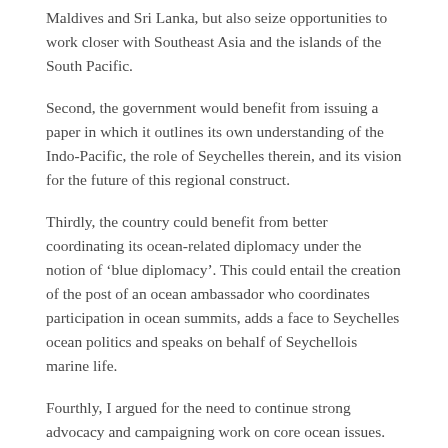Maldives and Sri Lanka, but also seize opportunities to work closer with Southeast Asia and the islands of the South Pacific.
Second, the government would benefit from issuing a paper in which it outlines its own understanding of the Indo-Pacific, the role of Seychelles therein, and its vision for the future of this regional construct.
Thirdly, the country could benefit from better coordinating its ocean-related diplomacy under the notion of ‘blue diplomacy’. This could entail the creation of the post of an ocean ambassador who coordinates participation in ocean summits, adds a face to Seychelles ocean politics and speaks on behalf of Seychellois marine life.
Fourthly, I argued for the need to continue strong advocacy and campaigning work on core ocean issues.